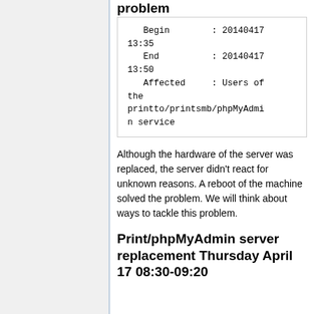problem
Begin        : 20140417 13:35
End          : 20140417 13:50
Affected     : Users of the printto/printsmb/phpMyAdmin service
Although the hardware of the server was replaced, the server didn't react for unknown reasons. A reboot of the machine solved the problem. We will think about ways to tackle this problem.
Print/phpMyAdmin server replacement Thursday April 17 08:30-09:20